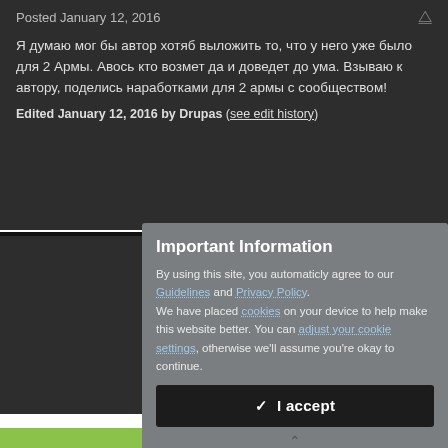Posted January 12, 2016
Я думаю мог бы автор хотяб выложить то, что у него уже было для 2 Армы. Авось кто возмет да и доведет до ума. Взываю к автору, поделись наработками для 2 армы с сообществом!
Edited January 12, 2016 by Drupas (see edit history)
[Figure (screenshot): Partial second forum post with vitacite user logo and collapsed quote block showing Russian text]
Important Information
By using this site, you automaticly agree to our Guidelines and Privacy Policy. We have placed cookies on your device to help make this website better. You can adjust your cookie settings, otherwise we'll assume you're okay to continue.
✓  I accept